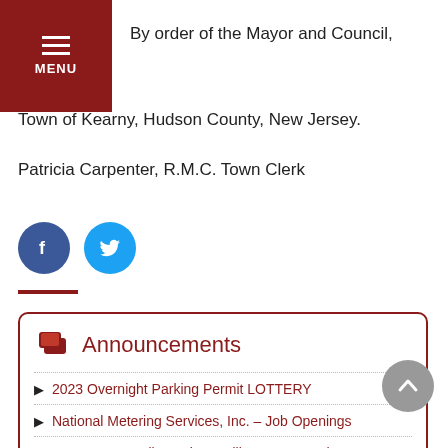MENU
By order of the Mayor and Council,
Town of Kearny, Hudson County, New Jersey.
Patricia Carpenter, R.M.C. Town Clerk
[Figure (illustration): Facebook and Twitter social media sharing icons — blue circle with f for Facebook, cyan circle with bird for Twitter]
Announcements
2023 Overnight Parking Permit LOTTERY
National Metering Services, Inc. – Job Openings
Mayor & Council Meetings Will Resume At The Kearny Town Hall In The Council Chamber Beginning Tuesday, August 9, 2022